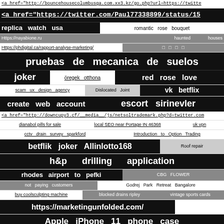<a href="http://bouncehousecolumbusga.com.xx3.kz/go.php?url=https://twitte
<a href="https://twitter.com/Paul77338899/status/15
replica watch usa | romantic rose bouquet
Https://nayabione.ru | haunted houses
Https://phdigital.ca/rapport-analyse-marketing/ | □ □ □ □
pruebas de mecanica de suelos
joker | öregek otthona | red rose love
scam ux design agency | Dislocated Joint | vk betflix
create web account | escort sirinevler
<a href="http://downcupy3.cf/__media__/js/netsoltrademark.php?d=twitter.com
dianabol pills for sale | local SEO near Portage IN 46368 | uk vpn
cctv drain survey sparkford | Introduction to Option Trading
betflik joker Allinlotto168 | Roof repair
h&p drilling application
rhodes airport to pefki | CBG FLOWER
not paying customers | Godrej Park Retreat Bangalore
buy coolsculpting machine | blocked drains ripley | vintage sports cards
https://marketingunfolded.com/
Apple iPhone 11 phone case
Premium | price of rhinoplasty
mykonos jeep rental | ...